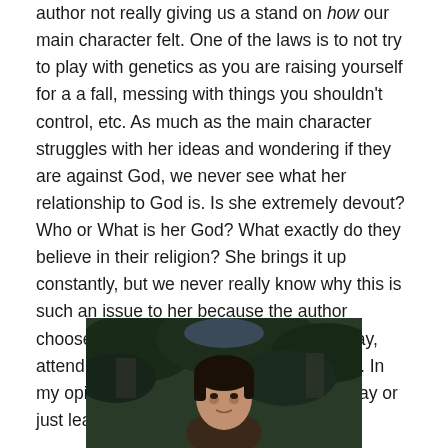author not really giving us a stand on how our main character felt. One of the laws is to not try to play with genetics as you are raising yourself for a a fall, messing with things you shouldn't control, etc. As much as the main character struggles with her ideas and wondering if they are against God, we never see what her relationship to God is. Is she extremely devout? Who or What is her God? What exactly do they believe in their religion? She brings it up constantly, but we never really know why this is such an issue to her because the author chooses to ignore it. We never see her pray, attend church, do any type of worship, etc. In my opinion you either need to go all the way or just leave it out; no in-between.
[Figure (photo): A photograph of a person, partially visible at bottom of page, showing their head and upper body against a dark outdoor background with foliage.]